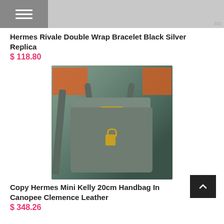[Figure (photo): Menu/hamburger button icon (gray box with three white lines) on the left, and a partial product image of a bracelet on the right with watermark '392']
Hermes Rivale Double Wrap Bracelet Black Silver Replica
$ 118.80
[Figure (photo): Photo of a dark green/sage Hermes Mini Kelly 20cm handbag in Canopee Clemence Leather with gold hardware, shown with orange Hermes box in background]
Copy Hermes Mini Kelly 20cm Handbag In Canopee Clemence Leather
$ 348.26